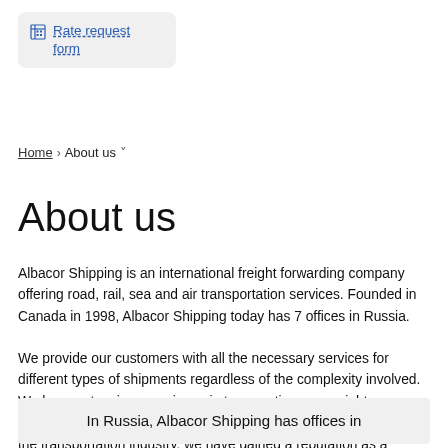[Figure (other): Rate request form button with grid icon, styled as a rounded rectangle link]
Home › About us ˅
About us
Albacor Shipping is an international freight forwarding company offering road, rail, sea and air transportation services. Founded in Canada in 1998, Albacor Shipping today has 7 offices in Russia.
We provide our customers with all the necessary services for different types of shipments regardless of the complexity involved. We have extensive experience in transporting overweight, oversized, and project cargo. During our many years of operation in the transportation industry, we have gained a reputation as a reliable partner that can meet any challenge.
In Russia, Albacor Shipping has offices in